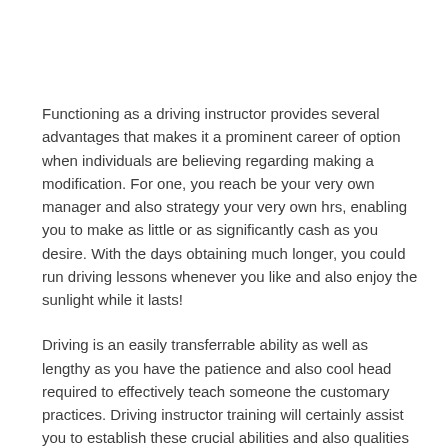Functioning as a driving instructor provides several advantages that makes it a prominent career of option when individuals are believing regarding making a modification. For one, you reach be your very own manager and also strategy your very own hrs, enabling you to make as little or as significantly cash as you desire. With the days obtaining much longer, you could run driving lessons whenever you like and also enjoy the sunlight while it lasts!
Driving is an easily transferrable ability as well as lengthy as you have the patience and also cool head required to effectively teach someone the customary practices. Driving instructor training will certainly assist you to establish these crucial abilities and also qualities obviously, however it is very important to keep in mind that training individuals to drive needs a good deal of persistance and also service, and also if you're easily worried out, or do not function well under stress